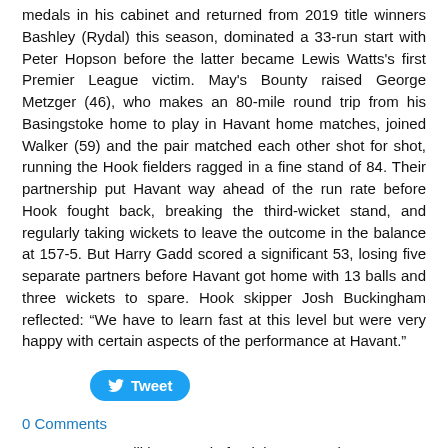medals in his cabinet and returned from 2019 title winners Bashley (Rydal) this season, dominated a 33-run start with Peter Hopson before the latter became Lewis Watts's first Premier League victim. May's Bounty raised George Metzger (46), who makes an 80-mile round trip from his Basingstoke home to play in Havant home matches, joined Walker (59) and the pair matched each other shot for shot, running the Hook fielders ragged in a fine stand of 84. Their partnership put Havant way ahead of the run rate before Hook fought back, breaking the third-wicket stand, and regularly taking wickets to leave the outcome in the balance at 157-5. But Harry Gadd scored a significant 53, losing five separate partners before Havant got home with 13 balls and three wickets to spare. Hook skipper Josh Buckingham reflected: “We have to learn fast at this level but were very happy with certain aspects of the performance at Havant."
[Figure (other): Tweet button with Twitter bird icon]
0 Comments
Your comment will be posted after it is approved.
LEAVE A REPLY